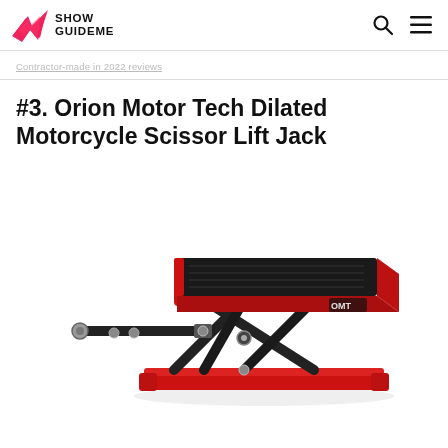Show GuideMe
Contractor-made in 2022 reviews
#3. Orion Motor Tech Dilated Motorcycle Scissor Lift Jack
[Figure (photo): Product photo of a red and black Orion Motor Tech (OMT) dilated motorcycle scissor lift jack, showing the scissor mechanism and a hand crank bar.]